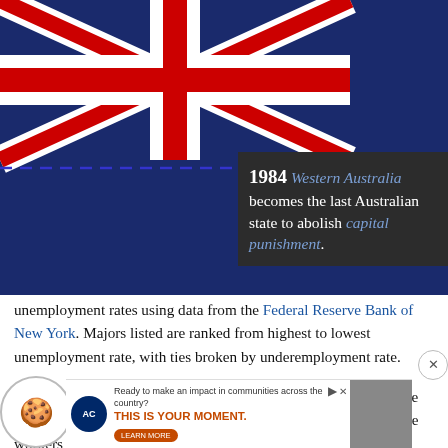[Figure (illustration): Top portion of a webpage showing the Australian flag with a dashed blue horizontal line across it, a small black swan on gold circle (Western Australia emblem), and a dark info box reading '1984 Western Australia becomes the last Australian state to abolish capital punishment.' with a larger black swan circle in the top right corner.]
unemployment rates using data from the Federal Reserve Bank of New York. Majors listed are ranked from highest to lowest unemployment rate, with ties broken by underemployment rate.
It's important to note that this data represents a 2017-2018 average and was released on July 17, 2020. Median wages are for full-time workers with bachelor's degrees. Unemployment and underemployment rates represent recent college graduates with bachelor's